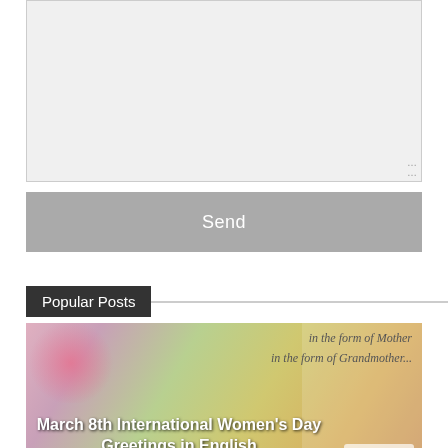[Figure (screenshot): A text area input box with light gray background and resize handle at bottom-right corner]
Send
Popular Posts
[Figure (photo): International Women's Day image with decorative background showing text 'in the form of Mother, in the form of Grandmother... She is a Woman!' with a 'No to Violence Against Women' logo]
March 8th International Women's Day Greetings in English
[Figure (photo): Blue background with Telugu script text and a golden deity figure on the right side]
Shantakaram Bhujagashayanam Lyrics in Telugu